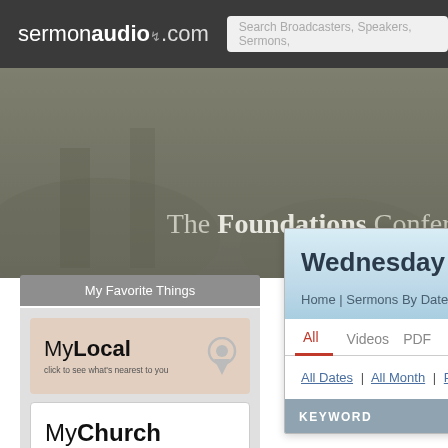sermonaudio.com | Search Broadcasters, Speakers, Sermons,
[Figure (screenshot): Hero banner showing 'The Foundations Conference' text on a dark grey/sepia photographic background]
My Favorite Things
[Figure (logo): MyLocal logo with location pin icon and text 'click to see what's nearest to you' on beige background]
[Figure (logo): MyChurch logo with text 'click to specify your home church' on white background]
Home
Newsroom, ALL
Events | Notices | Blogs
Newest Audio | Video | Clips
Wednesday Dece
Home | Sermons By Date
All   Videos   PDF
All Dates | All Month | Prev Month
KEYWORD